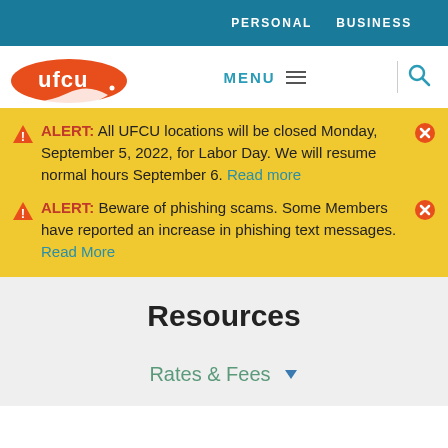PERSONAL   BUSINESS
[Figure (logo): UFCU orange oval logo with white text and swoosh]
MENU ≡ | 🔍
⚠ ALERT: All UFCU locations will be closed Monday, September 5, 2022, for Labor Day. We will resume normal hours September 6. Read more
⚠ ALERT: Beware of phishing scams. Some Members have reported an increase in phishing text messages. Read More
Resources
Rates & Fees ▼